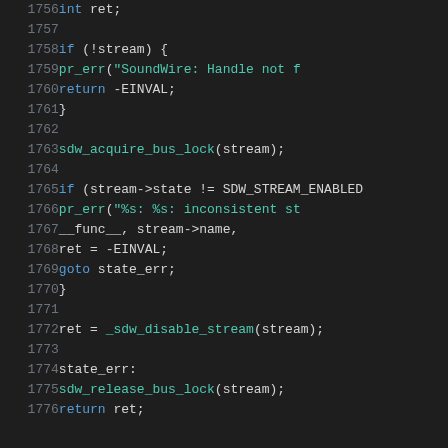Source code listing, lines 1756-1776, showing C code for a SoundWire stream disable function with error handling, state checks, and bus lock management.